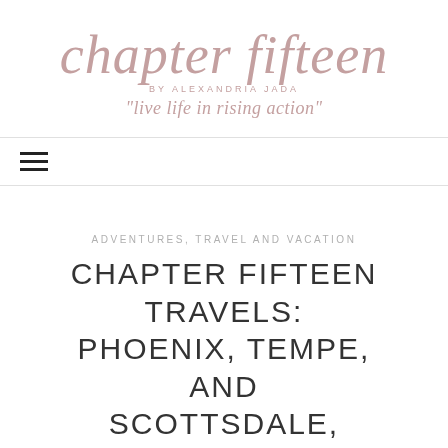chapter fifteen BY ALEXANDRIA JADA "live life in rising action"
≡
ADVENTURES, TRAVEL AND VACATION
CHAPTER FIFTEEN TRAVELS: PHOENIX, TEMPE, AND SCOTTSDALE, ARIZONA
March 23, 2018